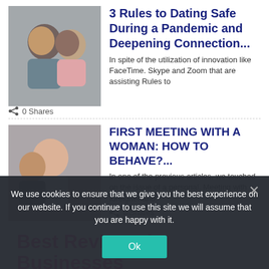[Figure (photo): Photo of a couple smiling together outdoors]
3 Rules to Dating Safe During a Pandemic and Deepening Connection...
In spite of the utilization of innovation like FaceTime. Skype and Zoom that are assisting Rules to
0 Shares
[Figure (photo): Photo of a romantic couple in close embrace]
FIRST MEETING WITH A WOMAN: HOW TO BEHAVE?...
In one of the previous articles, we touched on the issue of a personal. Meeting with a foreigner and
0 Shares
Best Reviewed Businesses
We use cookies to ensure that we give you the best experience on our website. If you continue to use this site we will assume that you are happy with it.